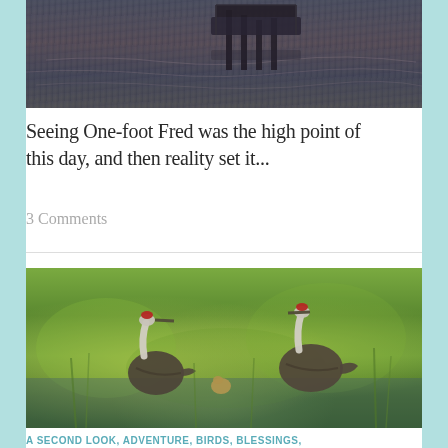[Figure (photo): Partial view of a dock or pier on a lake/water body at dusk or dawn, with rippling water reflections in muted purple and gray tones]
Seeing One-foot Fred was the high point of this day, and then reality set it...
3 Comments
[Figure (photo): Two sandhill cranes with red-capped heads wading through green marsh vegetation, with small chicks visible between them]
A SECOND LOOK, ADVENTURE, BIRDS, BLESSINGS,